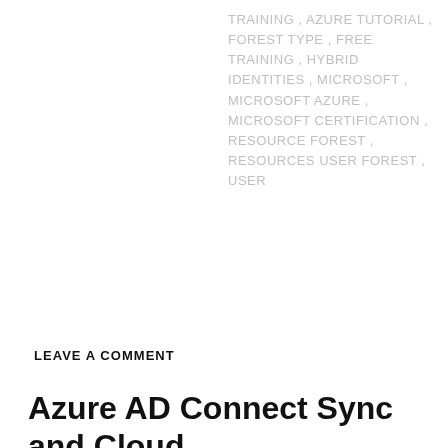TRAINING , AZURE TUTORIAL , FOREST TYPE , FREE TRAINING , HYBRID IDENTITIES , MICROSOFT , MICROSOFT AZURE , MICROSOFT CERTIFICATION , RESOURCE FOREST , RESOURCES USER FOREST , USER
LEAVE A COMMENT
Azure AD Connect Sync and Cloud